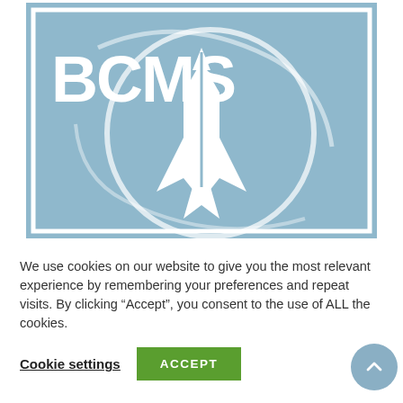[Figure (logo): BCMS logo: steel blue square with white border, large white circle overlay with swirl lines, bold white text 'BCMS' top-left, white rocket/spacecraft silhouette in center]
We use cookies on our website to give you the most relevant experience by remembering your preferences and repeat visits. By clicking “Accept”, you consent to the use of ALL the cookies.
Cookie settings
ACCEPT